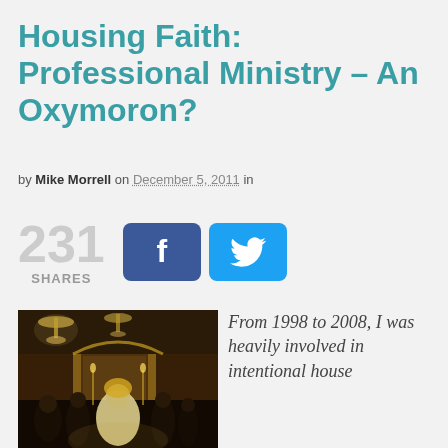Housing Faith: Professional Ministry – An Oxymoron?
by Mike Morrell on December 5, 2011 in
231 SHARES
[Figure (photo): Orthodox Christian religious ceremony with clergy in ornate robes and chandeliers in a decorated church interior]
From 1998 to 2008, I was heavily involved in intentional house